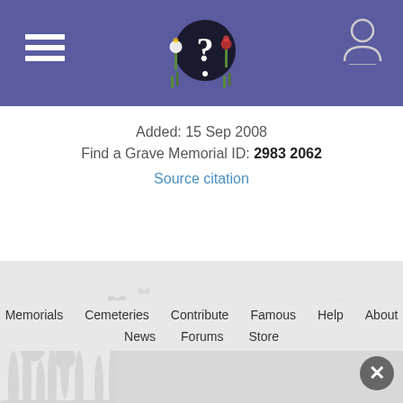[Figure (screenshot): Find a Grave website header with purple background, hamburger menu icon on left, logo (question mark with flowers) in center, user icon on right]
Added: 15 Sep 2008
Find a Grave Memorial ID: 2983 2062
Source citation
[Figure (illustration): Decorative meadow silhouette with butterflies and flowers in light gray]
Memorials  Cemeteries  Contribute  Famous  Help  About  News  Forums  Store